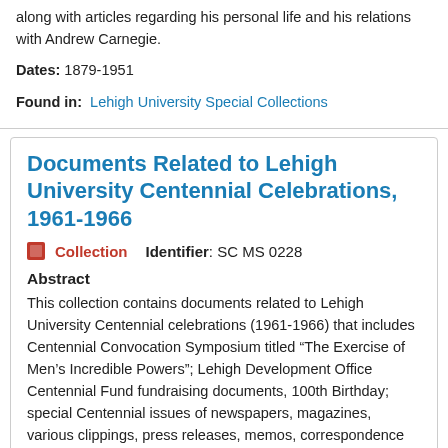along with articles regarding his personal life and his relations with Andrew Carnegie.
Dates: 1879-1951
Found in: Lehigh University Special Collections
Documents Related to Lehigh University Centennial Celebrations, 1961-1966
Collection   Identifier: SC MS 0228
Abstract
This collection contains documents related to Lehigh University Centennial celebrations (1961-1966) that includes Centennial Convocation Symposium titled “The Exercise of Men’s Incredible Powers”; Lehigh Development Office Centennial Fund fundraising documents, 100th Birthday; special Centennial issues of newspapers, magazines, various clippings, press releases, memos, correspondence and other publications.
Dates: 1961-1966; Majority of material found within